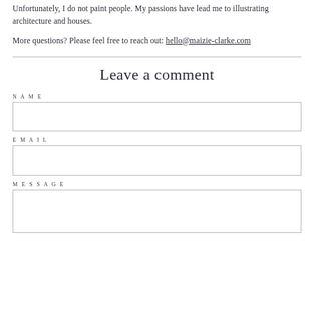Unfortunately, I do not paint people. My passions have lead me to illustrating architecture and houses.
More questions? Please feel free to reach out: hello@maizie-clarke.com
Leave a comment
NAME
EMAIL
MESSAGE